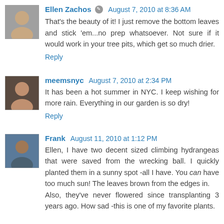Ellen Zachos · August 7, 2010 at 8:36 AM
That's the beauty of it! I just remove the bottom leaves and stick 'em...no prep whatsoever. Not sure if it would work in your tree pits, which get so much drier.
Reply
meemsnyc  August 7, 2010 at 2:34 PM
It has been a hot summer in NYC. I keep wishing for more rain. Everything in our garden is so dry!
Reply
Frank  August 11, 2010 at 1:12 PM
Ellen, I have two decent sized climbing hydrangeas that were saved from the wrecking ball. I quickly planted them in a sunny spot -all I have. You can have too much sun! The leaves brown from the edges in.
Also, they've never flowered since transplanting 3 years ago. How sad -this is one of my favorite plants.